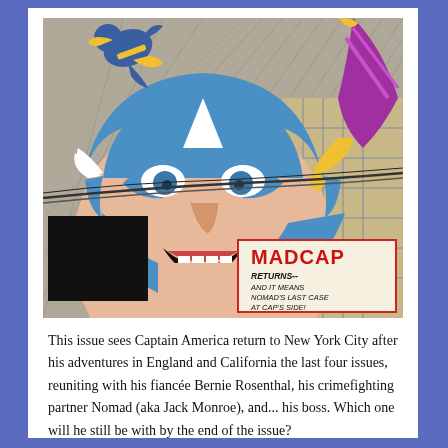[Figure (illustration): Comic book cover art showing Captain America in his blue and white costume in the foreground looking upward with an expression of alarm. In the background, a figure in blue and yellow costume is being knocked back while a villain in purple and yellow costume attacks. A text box in the lower right reads 'MADCAP RETURNS-- AND IT MEANS NOMAD'S LAST CASE AT CAP'S SIDE!' There is a black redacted rectangle in the lower left area. The art is in classic Marvel Comics style.]
This issue sees Captain America return to New York City after his adventures in England and California the last four issues, reuniting with his fiancée Bernie Rosenthal, his crimefighting partner Nomad (aka Jack Monroe), and... his boss. Which one will he still be with by the end of the issue?